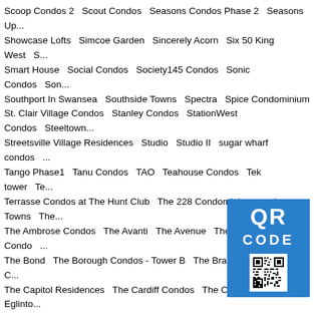Scoop Condos 2   Scout Condos   Seasons Condos Phase 2   Seasons Up...
Showcase Lofts   Simcoe Garden   Sincerely Acorn   Six 50 King West   S...
Smart House   Social Condos   Society145 Condos   Sonic Condos   Son...
Southport In Swansea   Southside Towns   Spectra   Spice Condominium
St. Clair Village Condos   Stanley Condos   StationWest Condos   Steeltown...
Streetsville Village Residences   Studio   Studio II   sugar wharf condos   ...
Tango Phase1   Tanu Condos   TAO   Teahouse Condos   Tek tower   Te...
Terrasse Condos at The Hunt Club   The 228 Condominiums and Towns   The...
The Ambrose Condos   The Avanti   The Avenue   The Balmoral Condo   ...
The Bond   The Borough Condos - Tower B   The Brant Park   The Bread C...
The Capitol Residences   The Cardiff Condos   The Cardiff Condos on Eglinto...
The Code Condos   The College Condominium at Spadina   The Co...
The Davis - Residences at Bakerfield   The Davisville   The Dawe...
The Eglinton Condos   The Epicurean   The Essential   The Flo...
The Georgian Residences   The Glen Condominiums   The Glouc...
The Hill   The Hive Lofts   The Hub   The Humber   The Icon   ...
The King Edward Private Residences   The King's Mill at Backyard ...
The Landing Condos   The Lexington Condominium Residences by...
The Markdale   The Mason at Brightwater   The Massey Tower   The Maze...
The Narrative Condos   The Neighbourhoods of Riverdale   The Nest Condos...
The Palm Condominium Residences   The Pemberton 33 Yorkville Condos   T...
The Poet Condos   The Point at Emerald City   The Queensway...
The Residence at South Unonville Square   The Residences at G...
The Residences on Owen   The Riverstone   The Rocket Condo...
The Saw Whet Condos   The Selby   The Shores   The Signature Condomi...
[Figure (other): QR code overlay with blue background showing QR CODE text and QR code image]